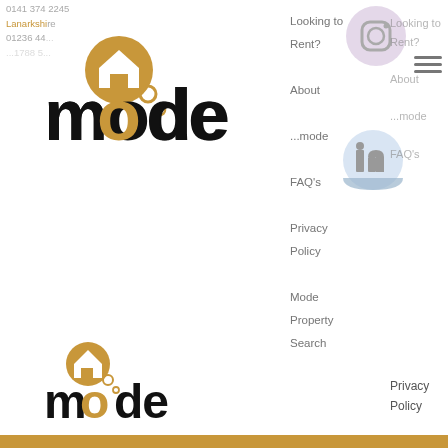0141 374 2245
Lanarkshire
01236 44...
...1788 5...
[Figure (logo): Mode Property logo - large version with golden house icon and bubble circles, black bold 'mode' text]
Looking to Rent?
About
...mode
FAQ's
Privacy Policy
Mode Property Search
[Figure (logo): Instagram circle social media icon in light purple/lavender]
[Figure (logo): LinkedIn circle social media icon in light blue]
[Figure (logo): Mode Property logo - smaller version with golden house icon and bubble circles, black bold 'mode' text]
[Figure (other): Hamburger menu icon (three horizontal lines)]